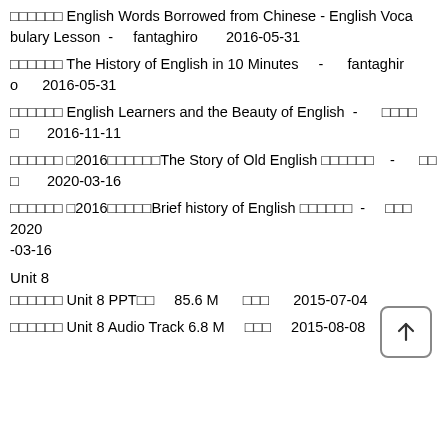□□□□□□ English Words Borrowed from Chinese - English Vocabulary Lesson - fantaghiro 2016-05-31
□□□□□□ The History of English in 10 Minutes - fantaghiro 2016-05-31
□□□□□□ English Learners and the Beauty of English - □□□□□ 2016-11-11
□□□□□□ □2016□□□□□□The Story of Old English □□□□□□ - □□□ 2020-03-16
□□□□□□ □2016□□□□□Brief history of English □□□□□□ - □□□ 2020-03-16
Unit 8
□□□□□□ Unit 8 PPT□□ 85.6 M □□□ 2015-07-04
□□□□□□ Unit 8 Audio Track 6.8 M □□□ 2015-08-08